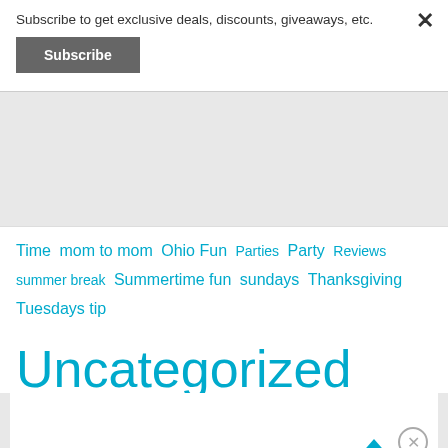Subscribe to get exclusive deals, discounts, giveaways, etc.
Subscribe
Time  mom to mom  Ohio Fun  Parties  Party  Reviews  summer break  Summertime fun  sundays  Thanksgiving  Tuesdays tip  Uncategorized
Advertisements
[Figure (photo): MAC cosmetics advertisement showing lipsticks with SHOP NOW text]